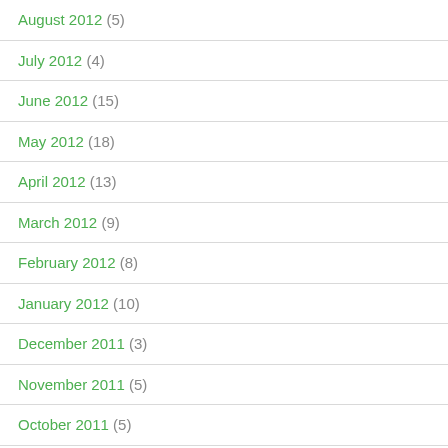August 2012 (5)
July 2012 (4)
June 2012 (15)
May 2012 (18)
April 2012 (13)
March 2012 (9)
February 2012 (8)
January 2012 (10)
December 2011 (3)
November 2011 (5)
October 2011 (5)
September 2011 (2)